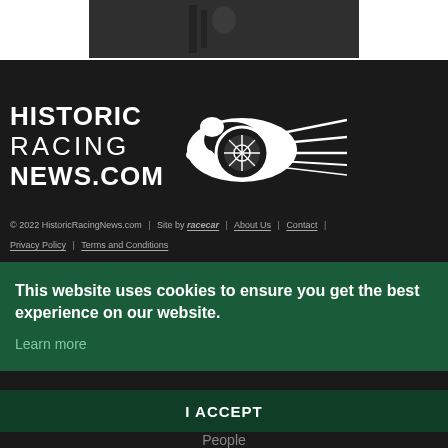[Figure (photo): Partial top image showing dark background, cropped at top of page]
[Figure (logo): Historic Racing News.com logo with white text and a stylized racing car graphic on dark background]
© 2022 HistoricRacingNews.com | Site by racecar | About Us | Contact | Privacy Policy | Terms and Conditions
This website uses cookies to ensure you get the best experience on our website.
Learn more
I ACCEPT
People